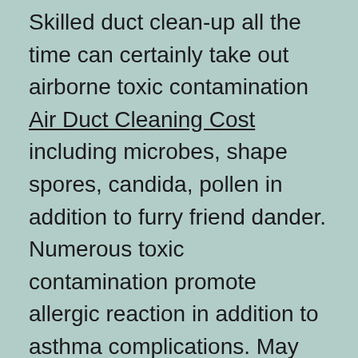Skilled duct clean-up all the time can certainly take out airborne toxic contamination Air Duct Cleaning Cost including microbes, shape spores, candida, pollen in addition to furry friend dander. Numerous toxic contamination promote allergic reaction in addition to asthma complications. May everyone in your residense include allergic reaction or maybe asthma indicators? If you are, the indicators can be compounded by means of grubby fresh air in your residense.
In depth fresh air duct clean-up besides cleans this internal parts of this ducting, it could